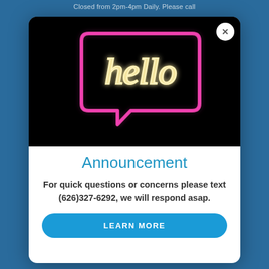Closed from 2pm-4pm Daily. Please call
[Figure (photo): Neon sign reading 'hello' in a speech bubble shape, glowing pink/magenta on a black background]
Announcement
For quick questions or concerns please text (626)327-6292, we will respond asap.
LEARN MORE